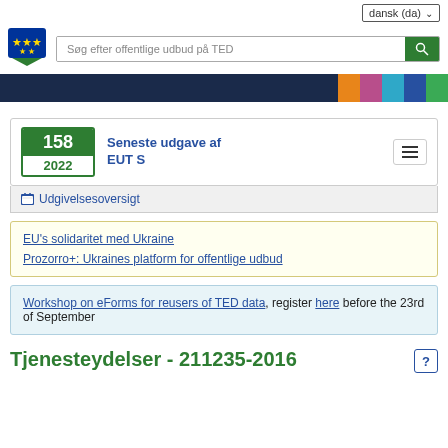dansk (da)
[Figure (logo): EU TED logo - blue square with EU stars and green speech bubble]
Søg efter offentlige udbud på TED
[Figure (infographic): Navigation banner with dark blue background and colored accent blocks: orange, purple, cyan, dark blue, green]
158
2022
Seneste udgave af EUT S
Udgivelsesoversigt
EU's solidaritet med Ukraine
Prozorro+: Ukraines platform for offentlige udbud
Workshop on eForms for reusers of TED data, register here before the 23rd of September
Tjenesteydelser - 211235-2016